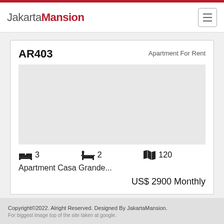JakartaMansion
AR403
Apartment For Rent
3  2  120
Apartment Casa Grande...
US$ 2900 Monthly
Copyright©2022. Alright Reserved. Designed By JakartaMansion.
For biggest image top of the site taken at google.